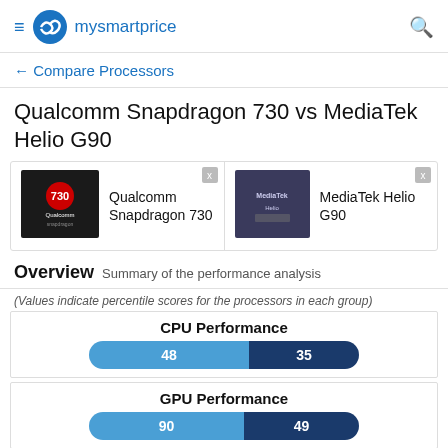mysmartprice
← Compare Processors
Qualcomm Snapdragon 730 vs MediaTek Helio G90
[Figure (other): Qualcomm Snapdragon 730 chip logo]
[Figure (other): MediaTek Helio G90 chip logo]
Overview Summary of the performance analysis
(Values indicate percentile scores for the processors in each group)
[Figure (bar-chart): CPU Performance]
[Figure (bar-chart): GPU Performance]